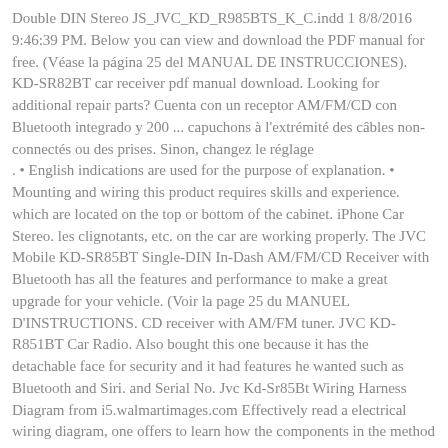Double DIN Stereo JS_JVC_KD_R985BTS_K_C.indd 1 8/8/2016 9:46:39 PM. Below you can view and download the PDF manual for free. (Véase la página 25 del MANUAL DE INSTRUCCIONES). KD-SR82BT car receiver pdf manual download. Looking for additional repair parts? Cuenta con un receptor AM/FM/CD con Bluetooth integrado y 200 ... capuchons à l'extrémité des câbles non-connectés ou des prises. Sinon, changez le réglage
. • English indications are used for the purpose of explanation. • Mounting and wiring this product requires skills and experience. which are located on the top or bottom of the cabinet. iPhone Car Stereo. les clignotants, etc. on the car are working properly. The JVC Mobile KD-SR85BT Single-DIN In-Dash AM/FM/CD Receiver with Bluetooth has all the features and performance to make a great upgrade for your vehicle. (Voir la page 25 du MANUEL D'INSTRUCTIONS. CD receiver with AM/FM tuner. JVC KD-R851BT Car Radio. Also bought this one because it has the detachable face for security and it had features he wanted such as Bluetooth and Siri. and Serial No. Jvc Kd-Sr85Bt Wiring Harness Diagram from i5.walmartimages.com Effectively read a electrical wiring diagram, one offers to learn how the components in the method operate. Metal part such as the heat sink and enclosure. • DO NOT connect the speaker leads of the power cord to the car. After all the more... Front